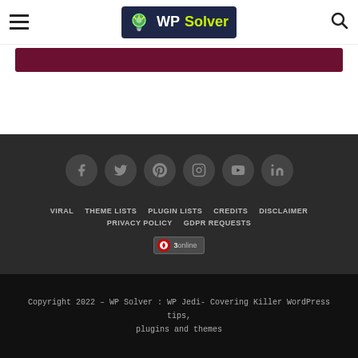WP Solver — site header with hamburger menu, logo, and search icon
[Figure (screenshot): Maroon/dark banner bar below header]
[Figure (infographic): Social media icons row: Facebook, Twitter, Pinterest, Instagram, YouTube, LinkedIn on dark background]
VIRAL
THEME LISTS
PLUGIN LISTS
CREDITS
DISCLAIMER
PRIVACY POLICY
GDPR REQUESTS
3online
Copyright 2022 – WP Solver : WP Jedi- Covering Killer WordPress tips, plugins and themes